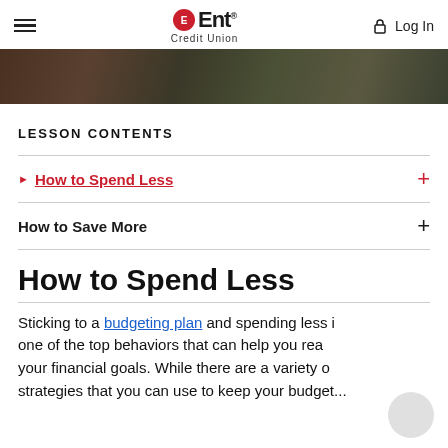Ent Credit Union — Log In
[Figure (photo): Hero image showing people outdoors in dark/muted clothing]
LESSON CONTENTS
How to Spend Less (active, expanded)
How to Save More
How to Spend Less
Sticking to a budgeting plan and spending less is one of the top behaviors that can help you reach your financial goals. While there are a variety of strategies that you can use to keep your budget...